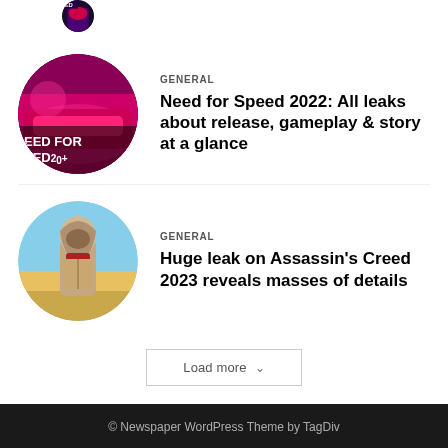[Figure (photo): Partial cropped circular thumbnail at top of page, game artwork partially visible]
GENERAL
Need for Speed 2022: All leaks about release, gameplay & story at a glance
[Figure (photo): Circular thumbnail showing hooded Assassin's Creed character in desert landscape]
GENERAL
Huge leak on Assassin's Creed 2023 reveals masses of details
Load more
© Newspaper WordPress Theme by TagDiv